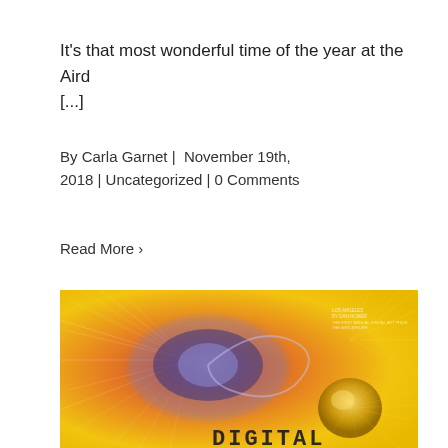It's that most wonderful time of the year at the Aird [...]
By Carla Garnet | November 19th, 2018 | Uncategorized | 0 Comments
Read More >
[Figure (illustration): A colorful digital art image with warm red, orange, and yellow tones featuring swirling abstract forms resembling a galaxy or cell structure with blue/purple center, and the word DIGITAL in pixel/dot text at the bottom right.]